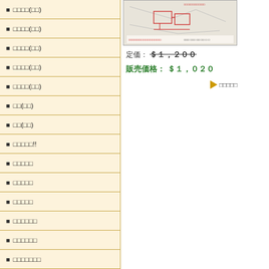□□□□(□□)
□□□□(□□)
□□□□(□□)
□□□□(□□)
□□□□(□□)
□□(□□)
□□(□□)
□□□□□!!
□□□□□
□□□□□
□□□□□
□□□□□□
□□□□□□
□□□□□□□
[Figure (other): Product image showing a schematic/map diagram with red markings and text]
定価： $1,200
販売価格： $1,020
▶ □□□□□